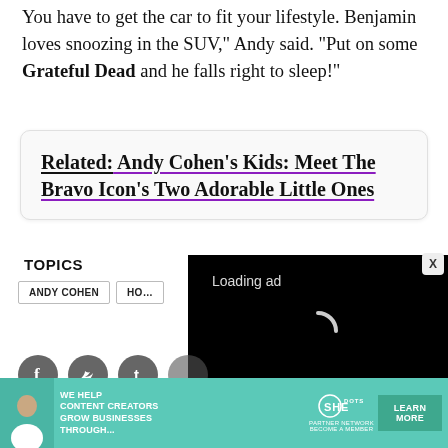You have to get the car to fit your lifestyle. Benjamin loves snoozing in the SUV," Andy said. "Put on some Grateful Dead and he falls right to sleep!"
Related: Andy Cohen's Kids: Meet The Bravo Icon's Two Adorable Little Ones
[Figure (screenshot): Video player overlay showing 'Loading ad' text with spinning loader and playback controls (pause, fullscreen, mute) on black background]
TOPICS
ANDY COHEN
HO...
[Figure (infographic): Social media share buttons: Facebook, Twitter, Tumblr icons in gray circles]
[Figure (infographic): SHE Media advertisement banner: 'We help content creators grow businesses through...' with SHE Partner Network logo and Learn More button]